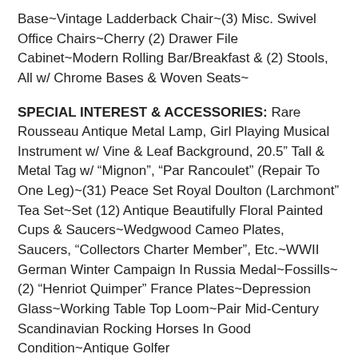Base~Vintage Ladderback Chair~(3) Misc. Swivel Office Chairs~Cherry (2) Drawer File Cabinet~Modern Rolling Bar/Breakfast & (2) Stools, All w/ Chrome Bases & Woven Seats~
SPECIAL INTEREST & ACCESSORIES: Rare Rousseau Antique Metal Lamp, Girl Playing Musical Instrument w/ Vine & Leaf Background, 20.5" Tall & Metal Tag w/ "Mignon", "Par Rancoulet" (Repair To One Leg)~(31) Peace Set Royal Doulton (Larchmont" Tea Set~Set (12) Antique Beautifully Floral Painted Cups & Saucers~Wedgwood Cameo Plates, Saucers, "Collectors Charter Member", Etc.~WWII German Winter Campaign In Russia Medal~Fossills~(2) "Henriot Quimper" France Plates~Depression Glass~Working Table Top Loom~Pair Mid-Century Scandinavian Rocking Horses In Good Condition~Antique Golfer Weathervane~Contemporary Advertising Signs~Fold Art By T. Brown, Chickens In Cage~M. L. Owen, Seagrove, NC, Pottery Pitcher~Collectible Drink Bottles~Vintage Playskool Duffel Bag, w/ Colored Wooden Blocks~Becker Cracker Box~Dovetailed Kingsford’s Silver Gloss Starch Wood Box~POW MIA Ring & Airborne Ring~Antique Small Decorated Coffee Mill~Bakery Goods Advertising Framed Items~Antique Metal (3) Dozen Egg